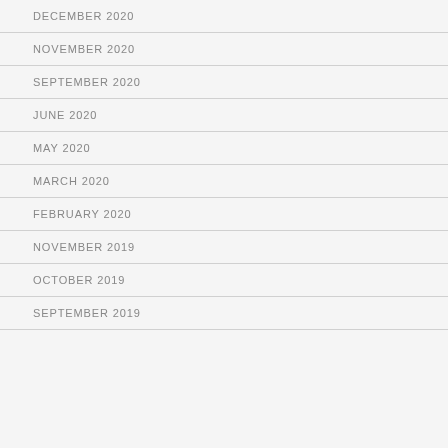DECEMBER 2020
NOVEMBER 2020
SEPTEMBER 2020
JUNE 2020
MAY 2020
MARCH 2020
FEBRUARY 2020
NOVEMBER 2019
OCTOBER 2019
SEPTEMBER 2019